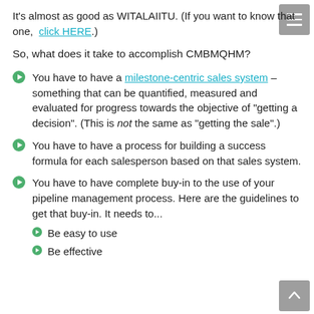It's almost as good as WITALAIITU. (If you want to know that one, click HERE.)
So, what does it take to accomplish CMBMQHM?
You have to have a milestone-centric sales system – something that can be quantified, measured and evaluated for progress towards the objective of "getting a decision". (This is not the same as "getting the sale".)
You have to have a process for building a success formula for each salesperson based on that sales system.
You have to have complete buy-in to the use of your pipeline management process. Here are the guidelines to get that buy-in. It needs to...
Be easy to use
Be effective